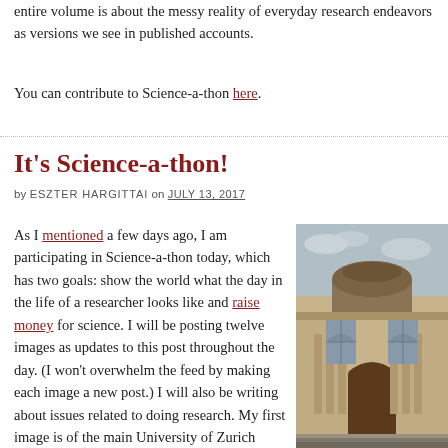entire volume is about the messy reality of everyday research endeavors as versions we see in published accounts.
You can contribute to Science-a-thon here.
It's Science-a-thon!
by ESZTER HARGITTAI on JULY 13, 2017
As I mentioned a few days ago, I am participating in Science-a-thon today, which has two goals: show the world what the day in the life of a researcher looks like and raise money for science. I will be posting twelve images as updates to this post throughout the day. (I won't overwhelm the feed by making each image a new post.) I will also be writing about issues related to doing research. My first image is of the main University of Zurich building that I passed with the tram this morning on my way to my office. (For those who've been reading CT for a while, yes, this is a change. I moved institutions and countries
[Figure (photo): Photograph of the main University of Zurich building, a grand stone building with a large domed rotunda and tall arched windows, photographed from street level.]